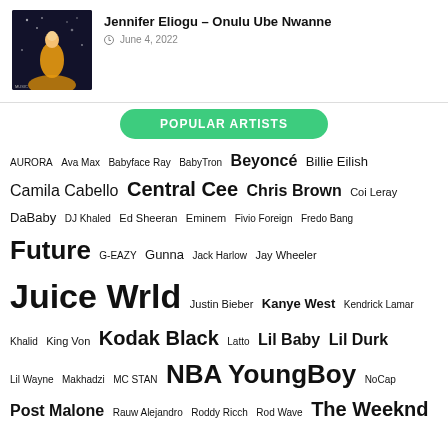[Figure (photo): Album cover thumbnail showing a woman in a yellow/orange dress against a dark sparkled background]
Jennifer Eliogu – Onulu Ube Nwanne
June 4, 2022
POPULAR ARTISTS
AURORA  Ava Max  Babyface Ray  BabyTron  Beyoncé  Billie Eilish  Camila Cabello  Central Cee  Chris Brown  Coi Leray  DaBaby  DJ Khaled  Ed Sheeran  Eminem  Fivio Foreign  Fredo Bang  Future  G-EAZY  Gunna  Jack Harlow  Jay Wheeler  Juice Wrld  Justin Bieber  Kanye West  Kendrick Lamar  Khalid  King Von  Kodak Black  Latto  Lil Baby  Lil Durk  Lil Wayne  Makhadzi  MC STAN  NBA YoungBoy  NoCap  Post Malone  Rauw Alejandro  Roddy Ricch  Rod Wave  The Weeknd